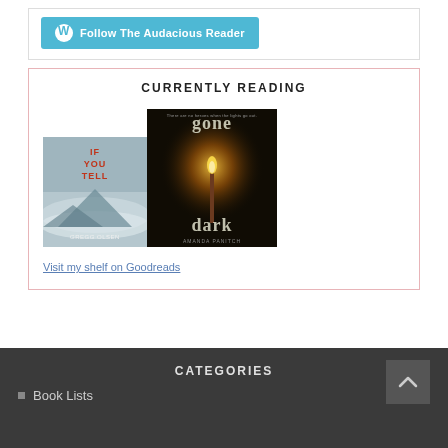[Figure (screenshot): WordPress Follow button: cyan button with WordPress logo icon and text 'Follow The Audacious Reader']
CURRENTLY READING
[Figure (illustration): Book cover: 'If You Tell' by Gregg Olsen — misty mountain landscape cover]
[Figure (illustration): Book cover: 'Gone Dark' by Amanda Panitch — dark cover with lit match]
Visit my shelf on Goodreads
CATEGORIES
Book Lists